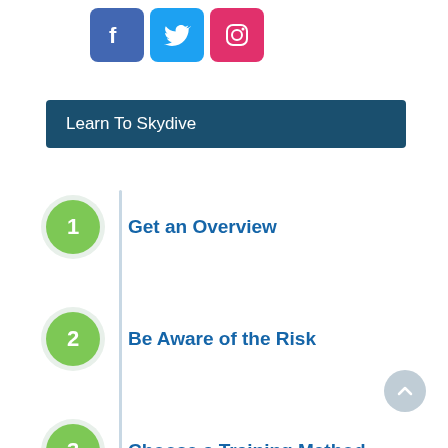[Figure (logo): Social media icons: Facebook (purple/blue), Twitter (blue), Instagram (pink)]
Learn To Skydive
1 Get an Overview
2 Be Aware of the Risk
3 Choose a Training Method